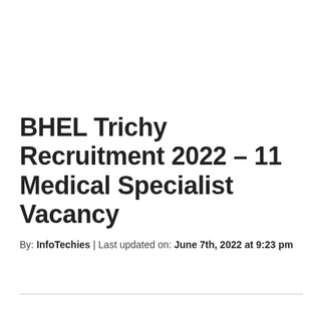BHEL Trichy Recruitment 2022 – 11 Medical Specialist Vacancy
By: InfoTechies | Last updated on: June 7th, 2022 at 9:23 pm